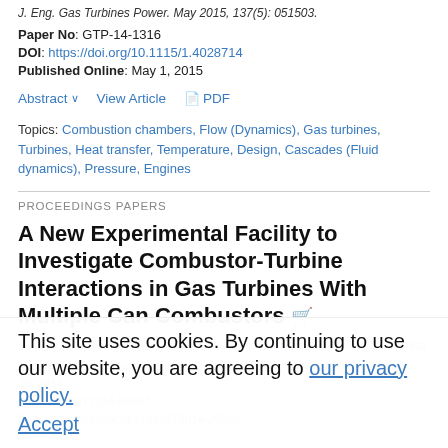J. Eng. Gas Turbines Power. May 2015, 137(5): 051503.
Paper No: GTP-14-1316
DOI: https://doi.org/10.1115/1.4028714
Published Online: May 1, 2015
Abstract ∨   View Article   📄 PDF
Topics: Combustion chambers, Flow (Dynamics), Gas turbines, Turbines, Heat transfer, Temperature, Design, Cascades (Fluid dynamics), Pressure, Engines
PROCEEDINGS PAPERS
A New Experimental Facility to Investigate Combustor-Turbine Interactions in Gas Turbines With Multiple Can Combustors
S. Luque, V. Kanjirakkad, I. Aslanidou, R. Lubbock, B. Rosic, S. Uchida
Proc. ASME. GT2014, Volume 2C: Turbomachinery, V02CT38A055, June 16–20, 2014
Paper No: GT2014-26987
DOI: https://doi.org/10.1115/GT2014-26989
This site uses cookies. By continuing to use our website, you are agreeing to our privacy policy.
Accept